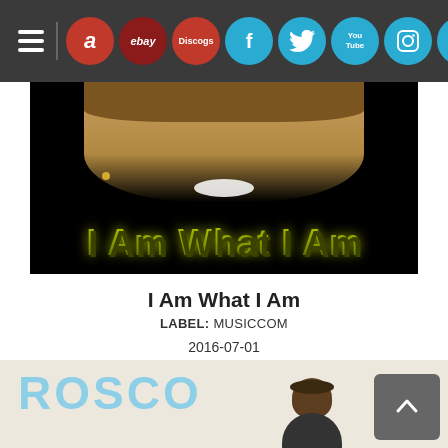Navigation bar with hamburger menu and social/marketplace icons: Amazon, eBay, Discogs, Facebook, Twitter, YouTube, Instagram, TikTok, Email
[Figure (photo): Album cover for 'I Am What I Am' — dark background with a smiling woman and large olive-green 3D text 'I Am What I Am']
I Am What I Am
LABEL: MUSICCOM
2016-07-01
MP3 Album: $9.99  DOWNLOAD
[Figure (photo): Bottom strip showing 'ROSCO' text in light blue and a man's head/shoulders against a beige background, with a scroll-to-top button in grey]